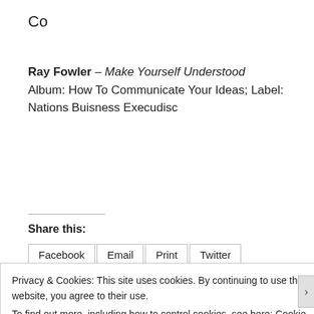Co
Ray Fowler – Make Yourself Understood
Album: How To Communicate Your Ideas; Label: Nations Buisness Execudisc
Share this:
Facebook  Email  Print  Twitter
Privacy & Cookies: This site uses cookies. By continuing to use this website, you agree to their use.
To find out more, including how to control cookies, see here: Cookie Policy
Close and accept